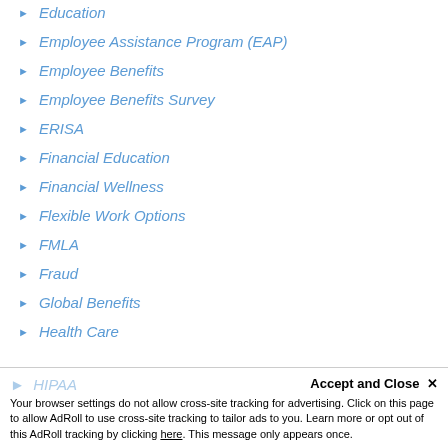Education
Employee Assistance Program (EAP)
Employee Benefits
Employee Benefits Survey
ERISA
Financial Education
Financial Wellness
Flexible Work Options
FMLA
Fraud
Global Benefits
Health Care
HIPAA
Accept and Close ✕
Your browser settings do not allow cross-site tracking for advertising. Click on this page to allow AdRoll to use cross-site tracking to tailor ads to you. Learn more or opt out of this AdRoll tracking by clicking here. This message only appears once.